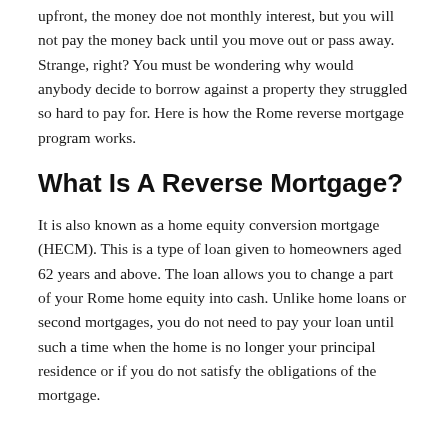upfront, the money doe not monthly interest, but you will not pay the money back until you move out or pass away. Strange, right? You must be wondering why would anybody decide to borrow against a property they struggled so hard to pay for. Here is how the Rome reverse mortgage program works.
What Is A Reverse Mortgage?
It is also known as a home equity conversion mortgage (HECM). This is a type of loan given to homeowners aged 62 years and above. The loan allows you to change a part of your Rome home equity into cash. Unlike home loans or second mortgages, you do not need to pay your loan until such a time when the home is no longer your principal residence or if you do not satisfy the obligations of the mortgage.